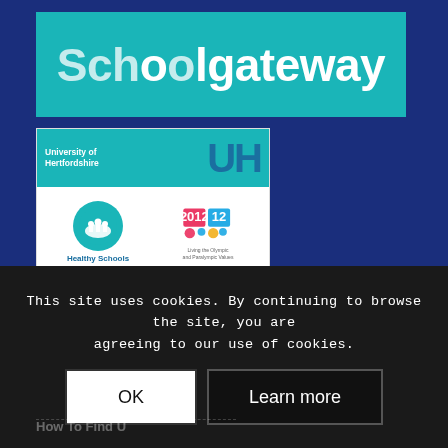[Figure (logo): Schoolgateway logo - white text on teal/cyan background]
[Figure (logo): Composite logo box containing: University of Hertfordshire (UH) logo, Healthy Schools logo, Living the Olympic and Paralympic Values logo, and We Are A Fairtrade School logo]
This site uses cookies. By continuing to browse the site, you are agreeing to our use of cookies.
OK
Learn more
How To Find U